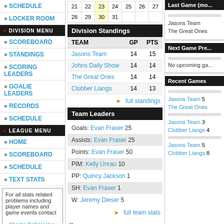SCHEDULE
LOCKER ROOM
DIVISION MENU
SCOREBOARD
STANDINGS
SCORING LEADERS
GOALIE LEADERS
RECORDS
SCHEDULE
LEAGUE MENU
HOME
SCOREBOARD
SCHEDULE
TEXT STATS
For all stats related problems including player names and game events contact • Sharks Ball Hockey League
| 21 | 22 | 23 | 24 | 25 | 26 | 27 |
| 28 | 29 | 30 | 31 |  |  |  |
Division Standings
| TEAM | GP | PTS |
| --- | --- | --- |
| Jasons Team | 14 | 15 |
| Johns Daily Show | 14 | 14 |
| The Great Ones | 14 | 14 |
| Clobber Liangs | 14 | 13 |
full standings
Team Leaders
Goals: Evan Fraser 25
Assists: Evan Fraser 25
Points: Evan Fraser 50
PIM: Kelly Unrau 10
PP: Quincy Jackson 1
SH: Evan Fraser 1
W: Jeremy Dieser 5
full team stats
print this page | print team roster
Last Game (mo...
Jasons Team
The Great Ones
Next Game Pre...
No upcoming ga...
Recent Games
Jasons Team 5
The Great Ones
Jasons Team 3
Clobber Liangs 4
Jasons Team 5
Clobber Liangs 8